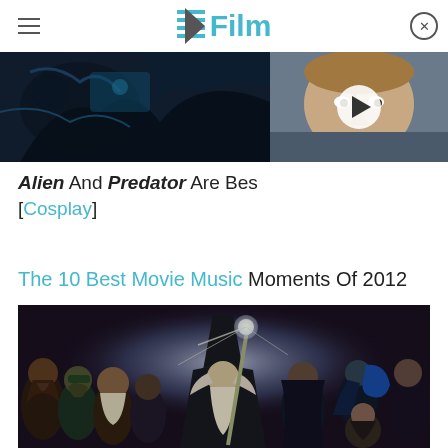/Film
[Figure (screenshot): Top banner area with two images: left showing a dark sci-fi/alien scene, right showing a video thumbnail of a man's face with a play button overlay]
Alien And Predator Are Best [Cosplay]
The 10 Best Movie Music Moments Of 2012
[Figure (illustration): Fantasy illustration depicting a wizard (Gandalf-like figure with wide-brimmed hat) surrounded by dwarves and hobbits in a dramatic scene, likely from The Hobbit]